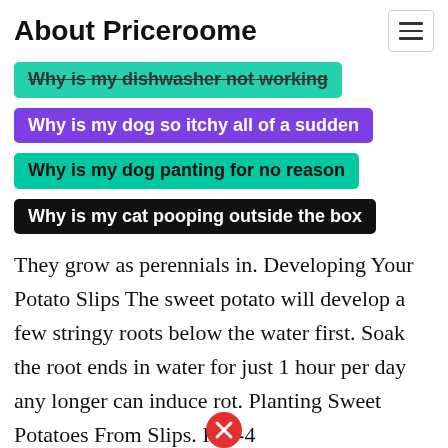About Priceroome
Why is my dishwasher not working
Why is my dog so itchy all of a sudden
Why is my dog panting for no reason
Why is my cat pooping outside the box
They grow as perennials in. Developing Your Potato Slips The sweet potato will develop a few stringy roots below the water first. Soak the root ends in water for just 1 hour per day any longer can induce rot. Planting Sweet Potatoes From Slips. In 2-4